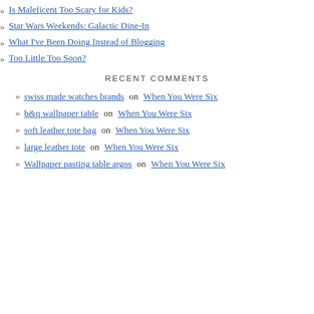Is Maleficent Too Scary for Kids?
Star Wars Weekends: Galactic Dine-In
What I've Been Doing Instead of Blogging
Too Little Too Soon?
RECENT COMMENTS
swiss made watches brands on When You Were Six
b&q wallpaper table on When You Were Six
soft leather tote bag on When You Were Six
large leather tote on When You Were Six
Wallpaper pasting table argos on When You Were Six